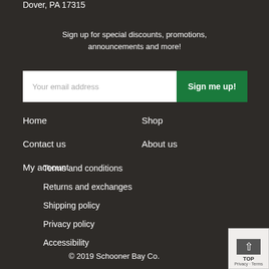Dover, PA 17315
Sign up for special discounts, promotions, announcements and more!
Your email address  Sign me up!
Home
Shop
Contact us
About us
My account
Terms and conditions
Returns and exchanges
Shipping policy
Privacy policy
Accessibility
© 2019 Schooner Bay Co.